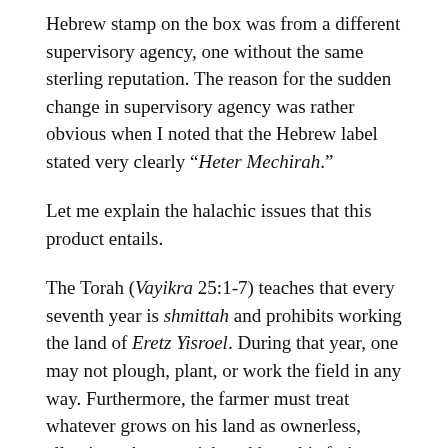Hebrew stamp on the box was from a different supervisory agency, one without the same sterling reputation. The reason for the sudden change in supervisory agency was rather obvious when I noted that the Hebrew label stated very clearly “Heter Mechirah.”
Let me explain the halachic issues that this product entails.
The Torah (Vayikra 25:1-7) teaches that every seventh year is shmittah and prohibits working the land of Eretz Yisroel. During that year, one may not plough, plant, or work the field in any way. Furthermore, the farmer must treat whatever grows on his land as ownerless, allowing others to pick and keep his fruit. They may only take as much as their family will be eating, and the farmer also may take this amount. Many other laws apply to the